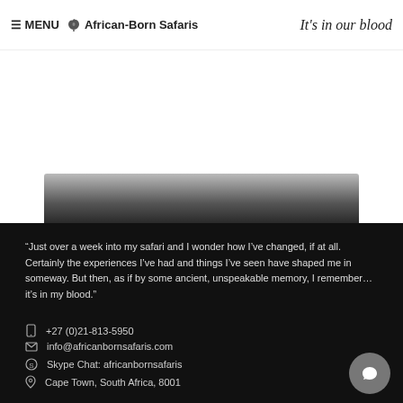≡ MENU  🐘 African-Born Safaris  It's in our blood
[Figure (photo): Partial view of a dark object (possibly a rifle or similar elongated dark item) on a white background, cropped at the bottom of the white section.]
“Just over a week into my safari and I wonder how I’ve changed, if at all. Certainly the experiences I’ve had and things I’ve seen have shaped me in someway. But then, as if by some ancient, unspeakable memory, I remember… it’s in my blood.”
+27 (0)21-813-5950
info@africanbornsafaris.com
Skype Chat: africanbornsafaris
Cape Town, South Africa, 8001